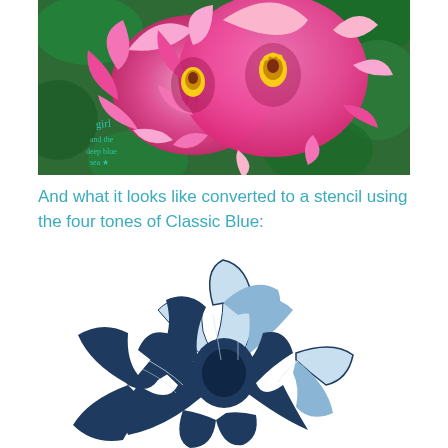[Figure (photo): Close-up photograph of two pink hibiscus flowers with green leaves in the background. A watermark in the lower-left reads 'girl and the deep blue sea' in teal cursive text with a star.]
And what it looks like converted to a stencil using the four tones of Classic Blue:
[Figure (illustration): A hibiscus flower converted to a stencil design using four tones of Classic Blue — ranging from very light blue-white to deep navy blue.]